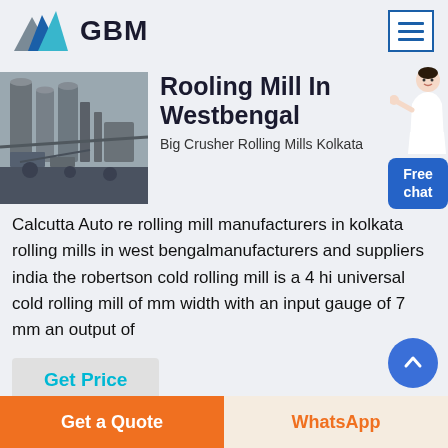GBM
[Figure (photo): Industrial rolling mill machinery with silos and equipment]
Rooling Mill In Westbengal
Big Crusher Rolling Mills Kolkata
Calcutta Auto re rolling mill manufacturers in kolkata rolling mills in west bengalmanufacturers and suppliers india the robertson cold rolling mill is a 4 hi universal cold rolling mill of mm width with an input gauge of 7 mm an output of
Get Price
Get a Quote
WhatsApp